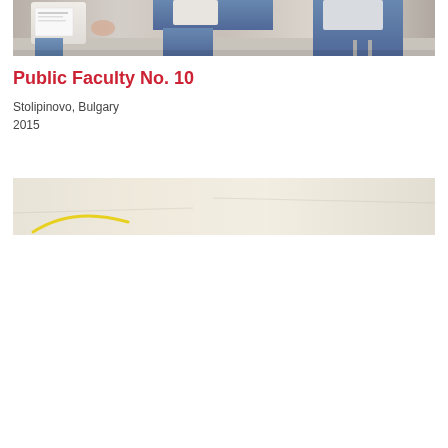[Figure (photo): Photograph of people, partially cropped, showing people sitting. Appears to be students or individuals at a meeting or consultation.]
Public Faculty No. 10
Stolipinovo, Bulgary
2015
[Figure (map): Partial map image with a yellow arc/curve line visible in the lower left area. Map shows a light beige/cream background typical of a geographic map.]